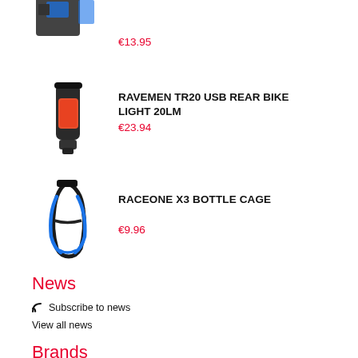[Figure (photo): Product image of bike accessory (partially cropped at top)]
€13.95
[Figure (photo): Product image of Ravemen TR20 USB rear bike light, black and red]
RAVEMEN TR20 USB REAR BIKE LIGHT 20LM
€23.94
[Figure (photo): Product image of Raceone X3 bottle cage, black and blue]
RACEONE X3 BOTTLE CAGE
€9.96
News
Subscribe to news
View all news
Brands